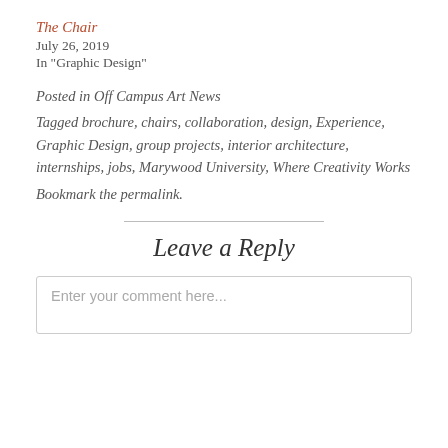The Chair
July 26, 2019
In "Graphic Design"
Posted in Off Campus Art News
Tagged brochure, chairs, collaboration, design, Experience, Graphic Design, group projects, interior architecture, internships, jobs, Marywood University, Where Creativity Works
Bookmark the permalink.
Leave a Reply
Enter your comment here...